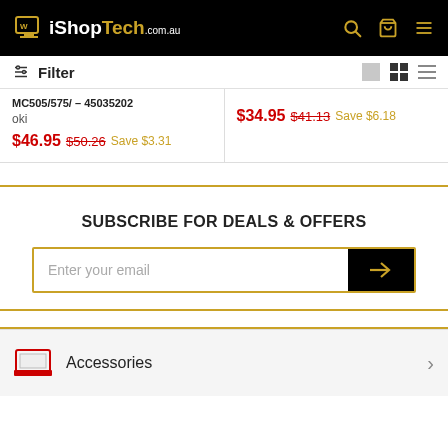iShopTech.com.au
Filter
MC505/575/ - 45035202
oki
$46.95  $50.26  Save $3.31
$34.95  $41.13  Save $6.18
SUBSCRIBE FOR DEALS & OFFERS
Enter your email
Accessories